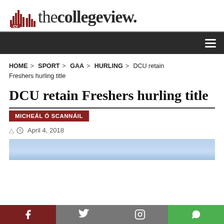[Figure (logo): The College View newspaper logo with cityscape icon and text 'thecollegeview.']
HOME > SPORT > GAA > HURLING > DCU retain Freshers hurling title
DCU retain Freshers hurling title
MICHEÁL Ó SCANNÁIL
April 4, 2018
[Figure (photo): Partial image of a hurling match, blue sky background]